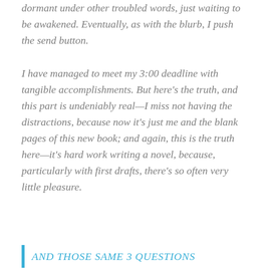dormant under other troubled words, just waiting to be awakened. Eventually, as with the blurb, I push the send button.

I have managed to meet my 3:00 deadline with tangible accomplishments. But here's the truth, and this part is undeniably real—I miss not having the distractions, because now it's just me and the blank pages of this new book; and again, this is the truth here—it's hard work writing a novel, because, particularly with first drafts, there's so often very little pleasure.
AND THOSE SAME 3 QUESTIONS